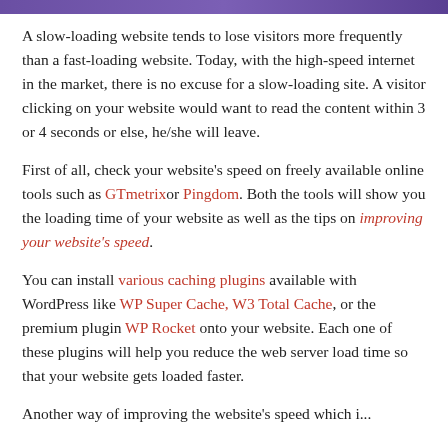A slow-loading website tends to lose visitors more frequently than a fast-loading website. Today, with the high-speed internet in the market, there is no excuse for a slow-loading site. A visitor clicking on your website would want to read the content within 3 or 4 seconds or else, he/she will leave.
First of all, check your website's speed on freely available online tools such as GTmetrix or Pingdom. Both the tools will show you the loading time of your website as well as the tips on improving your website's speed.
You can install various caching plugins available with WordPress like WP Super Cache, W3 Total Cache, or the premium plugin WP Rocket onto your website. Each one of these plugins will help you reduce the web server load time so that your website gets loaded faster.
Another way of improving the website's speed which is...